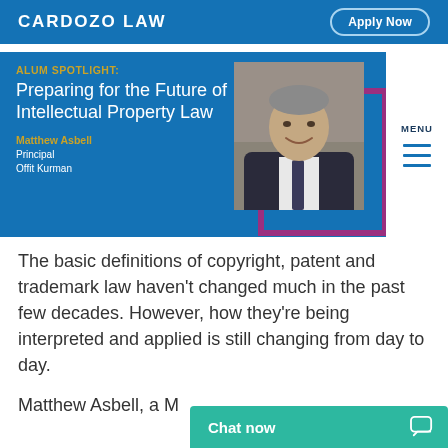CARDOZO LAW | Apply Now
[Figure (screenshot): Alum Spotlight banner with blue background. Text: 'ALUM SPOTLIGHT: Preparing for the Future of Intellectual Property Law'. Person: Matthew Asbell, Principal, Offit Kurman. Photo of a middle-aged man in a suit smiling, with a purple/magenta border frame.]
The basic definitions of copyright, patent and trademark law haven't changed much in the past few decades. However, how they're being interpreted and applied is still changing from day to day.
Matthew Asbell, a M...
Chat now